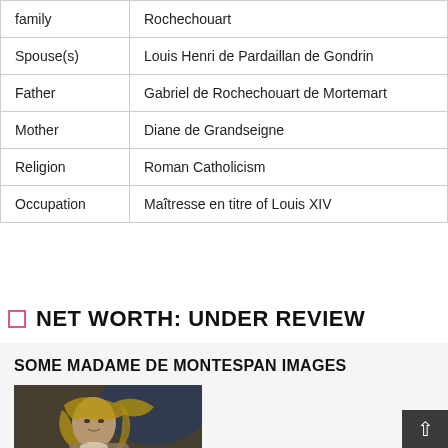| family | Rochechouart |
| Spouse(s) | Louis Henri de Pardaillan de Gondrin |
| Father | Gabriel de Rochechouart de Mortemart |
| Mother | Diane de Grandseigne |
| Religion | Roman Catholicism |
| Occupation | Maîtresse en titre of Louis XIV |
NET WORTH: UNDER REVIEW
SOME MADAME DE MONTESPAN IMAGES
[Figure (photo): Portrait painting of Madame de Montespan, a woman with curly hair wearing period dress, painted in dark tones with blue background elements.]